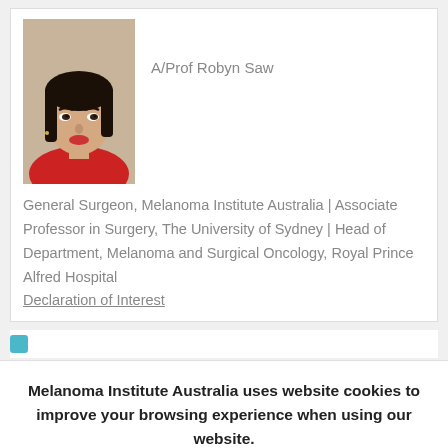[Figure (photo): Portrait photo of A/Prof Robyn Saw, a woman with dark hair, wearing a red top]
A/Prof Robyn Saw
General Surgeon, Melanoma Institute Australia | Associate Professor in Surgery, The University of Sydney | Head of Department, Melanoma and Surgical Oncology, Royal Prince Alfred Hospital
Declaration of Interest
Melanoma Institute Australia uses website cookies to improve your browsing experience when using our website.
ACCEPT
REJECT